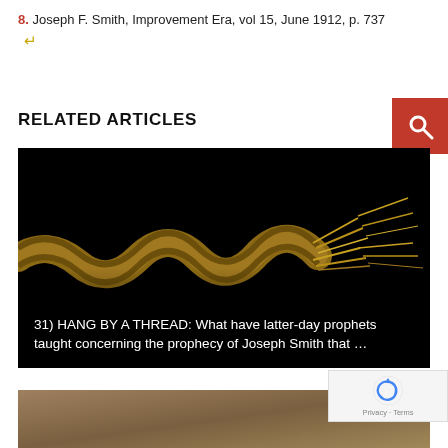8. Joseph F. Smith, Improvement Era, vol 15, June 1912, p. 737 ↵
RELATED ARTICLES
[Figure (photo): A fraying rope against a black background with text overlay reading: 31) HANG BY A THREAD: What have latter-day prophets taught concerning the prophecy of Joseph Smith that ...]
[Figure (photo): Partial view of a second article image at the bottom of the page (brownish/sandy texture), partially cut off.]